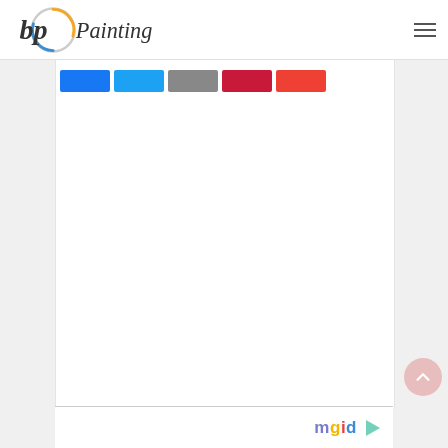[Figure (logo): bp Painting logo — stylized 'bp' with a circular swirl graphic and 'Painting' in script font]
[Figure (infographic): Row of five social share buttons: Facebook (blue), Twitter (light blue), Email (gray), Pinterest (dark red/crimson), Pocket (orange-red)]
[Figure (logo): mgid logo with colorful letters and a triangular play icon to the right, at bottom of content area]
[Figure (other): Circular pink/salmon scroll-to-top button with upward chevron arrow, positioned at lower right]